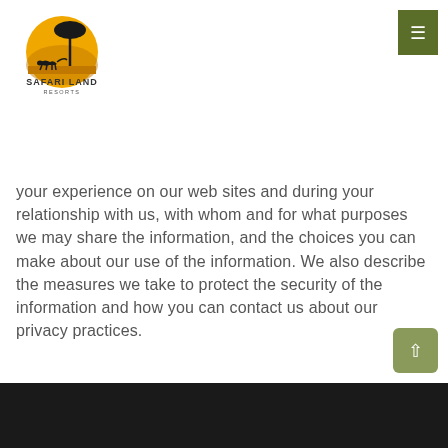[Figure (logo): Safari Land Resorts logo: circular emblem with golden sun/tree silhouette and cheetah, text 'SAFARI LAND' and 'RESORTS' below]
your experience on our web sites and during your relationship with us, with whom and for what purposes we may share the information, and the choices you can make about our use of the information. We also describe the measures we take to protect the security of the information and how you can contact us about our privacy practices.